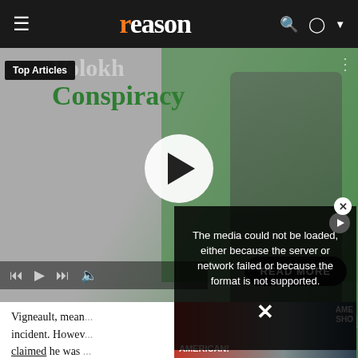reason
[Figure (screenshot): Reason magazine website screenshot showing a video player with Volokh Conspiracy overlay image, Top Articles badge, play button, media controls, and READ MORE button]
Monday Morning Media: SF andFantasy Books
The media could not be loaded, either because the server or network failed or because the format is not supported.
Vigneault, mean... incident. Howev... claimed he was ... didn't actually d... maintained his i...